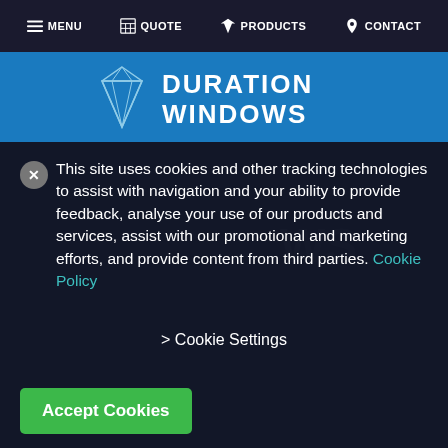MENU  QUOTE  PRODUCTS  CONTACT
[Figure (logo): Duration Windows logo with diamond icon and text DURATION WINDOWS on blue background]
This site uses cookies and other tracking technologies to assist with navigation and your ability to provide feedback, analyse your use of our products and services, assist with our promotional and marketing efforts, and provide content from third parties. Cookie Policy
> Cookie Settings
Accept Cookies